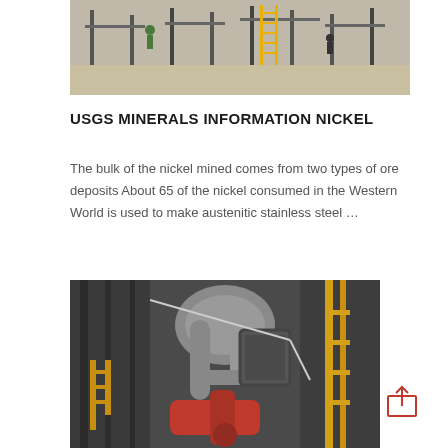[Figure (photo): Industrial facility with metal scaffolding, ladders, and workers on a sandy/concrete floor.]
USGS MINERALS INFORMATION NICKEL
The bulk of the nickel mined comes from two types of ore deposits About 65 of the nickel consumed in the Western World is used to make austenitic stainless steel …
[Figure (photo): Industrial machinery with large pipes, ducts, red mechanical arm, and yellow safety railings in a factory setting.]